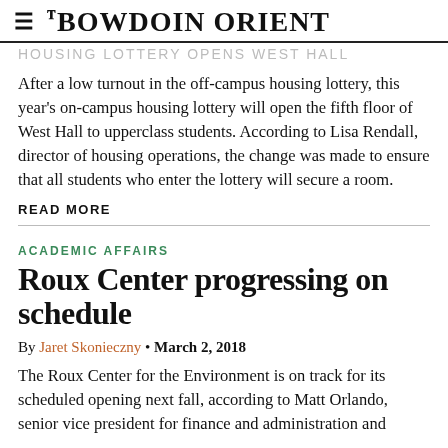THE BOWDOIN ORIENT
After a low turnout in the off-campus housing lottery, this year's on-campus housing lottery will open the fifth floor of West Hall to upperclass students. According to Lisa Rendall, director of housing operations, the change was made to ensure that all students who enter the lottery will secure a room.
READ MORE
ACADEMIC AFFAIRS
Roux Center progressing on schedule
By Jaret Skonieczny • March 2, 2018
The Roux Center for the Environment is on track for its scheduled opening next fall, according to Matt Orlando, senior vice president for finance and administration and